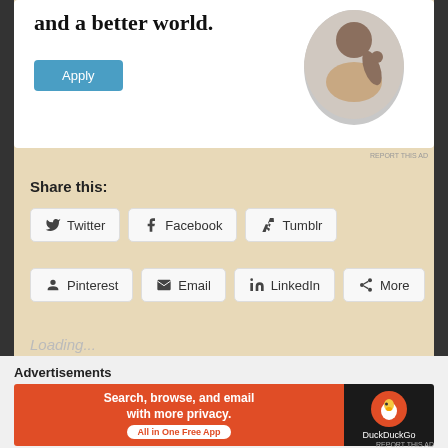[Figure (screenshot): Advertisement banner with text 'and a better world.' and an Apply button, with a circular photo of a man thinking at a desk]
Share this:
Twitter
Facebook
Tumblr
Pinterest
Email
LinkedIn
More
Loading...
Advertisements
[Figure (screenshot): DuckDuckGo advertisement: 'Search, browse, and email with more privacy. All in One Free App' on orange background with DuckDuckGo logo on dark background]